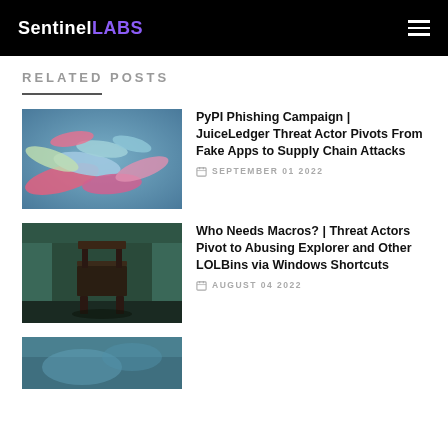SentinelLABS
RELATED POSTS
[Figure (photo): Close-up photo of colorful gummy candy worms, pink and blue, on a surface]
PyPI Phishing Campaign | JuiceLedger Threat Actor Pivots From Fake Apps to Supply Chain Attacks
SEPTEMBER 01 2022
[Figure (photo): Photo of an old abandoned chair in a dark, rundown room with teal-colored walls]
Who Needs Macros? | Threat Actors Pivot to Abusing Explorer and Other LOLBins via Windows Shortcuts
AUGUST 04 2022
[Figure (photo): Partial view of a third related post image at the bottom]